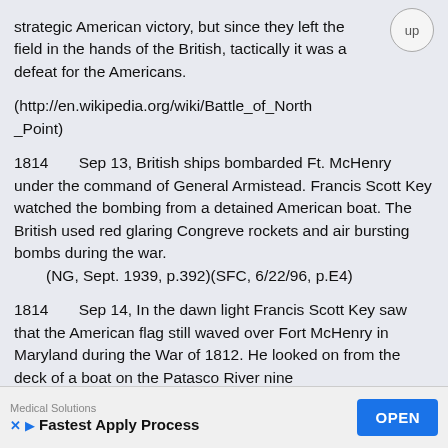strategic American victory, but since they left the field in the hands of the British, tactically it was a defeat for the Americans.
(http://en.wikipedia.org/wiki/Battle_of_North_Point)
1814    Sep 13, British ships bombarded Ft. McHenry under the command of General Armistead. Francis Scott Key watched the bombing from a detained American boat. The British used red glaring Congreve rockets and air bursting bombs during the war.
    (NG, Sept. 1939, p.392)(SFC, 6/22/96, p.E4)
1814    Sep 14, In the dawn light Francis Scott Key saw that the American flag still waved over Fort McHenry in Maryland during the War of 1812. He looked on from the deck of a boat on the Patasco River nine
Medical Solutions  Fastest Apply Process  OPEN